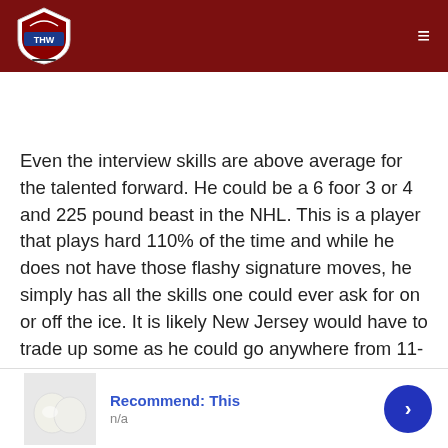THW logo and navigation header
Even the interview skills are above average for the talented forward. He could be a 6 foor 3 or 4 and 225 pound beast in the NHL. This is a player that plays hard 110% of the time and while he does not have those flashy signature moves, he simply has all the skills one could ever ask for on or off the ice. It is likely New Jersey would have to trade up some as he could go anywhere from 11-25, it would seem.
One tweet tonight from just debating the merits of Gaunco
[Figure (other): Advertisement bar at bottom: image of white round objects, text 'Recommend: This / n/a', blue circle arrow button]